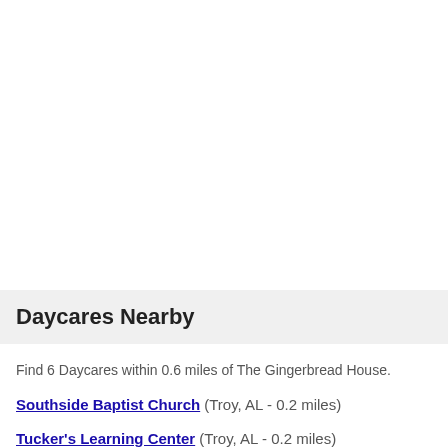Daycares Nearby
Find 6 Daycares within 0.6 miles of The Gingerbread House.
Southside Baptist Church (Troy, AL - 0.2 miles)
Tucker's Learning Center (Troy, AL - 0.2 miles)